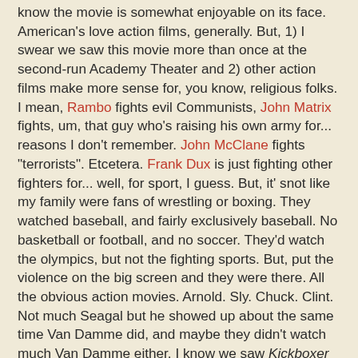know the movie is somewhat enjoyable on its face. American's love action films, generally. But, 1) I swear we saw this movie more than once at the second-run Academy Theater and 2) other action films make more sense for, you know, religious folks. I mean, Rambo fights evil Communists, John Matrix fights, um, that guy who's raising his own army for... reasons I don't remember. John McClane fights "terrorists". Etcetera. Frank Dux is just fighting other fighters for... well, for sport, I guess. But, it' snot like my family were fans of wrestling or boxing. They watched baseball, and fairly exclusively baseball. No basketball or football, and no soccer. They'd watch the olympics, but not the fighting sports. But, put the violence on the big screen and they were there. All the obvious action movies. Arnold. Sly. Chuck. Clint. Not much Seagal but he showed up about the same time Van Damme did, and maybe they didn't watch much Van Damme either. I know we saw Kickboxer in the theater. And Hard Target. And Universal Soldier. And Timecop. But, after that it might've been more me and my sisters. Or maybe just me.
Hell, about a decade ago--I forget exactly when, but I know it